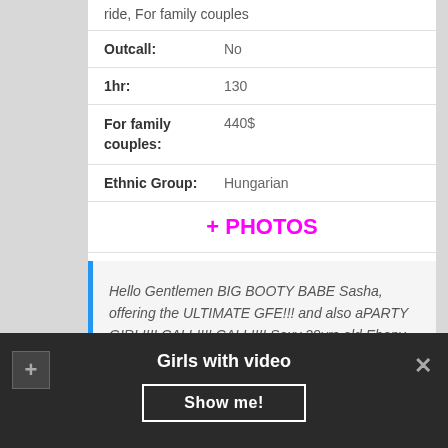ride, For family couples
| Outcall: | No |
| 1hr: | 130 |
| For family couples: | 440$ |
| Ethnic Group: | Hungarian |
+ PHOTOS
Hello Gentlemen BIG BOOTY BABE Sasha, offering the ULTIMATE GFE!!! and also aPARTY GIRL!!!! CALL!!!! CALL!!!! Sexy 29yrs old Ebony Escort with curves in all the right places and a
Girls with video  Show me!